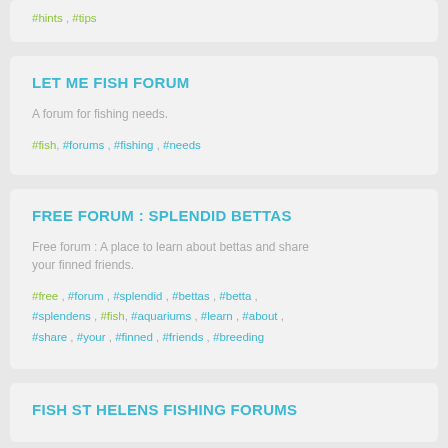#hints , #tips
LET ME FISH FORUM
A forum for fishing needs.
#fish, #forums , #fishing , #needs
FREE FORUM : SPLENDID BETTAS
Free forum : A place to learn about bettas and share your finned friends.
#free , #forum , #splendid , #bettas , #betta , #splendens , #fish, #aquariums , #learn , #about , #share , #your , #finned , #friends , #breeding
FISH ST HELENS FISHING FORUMS